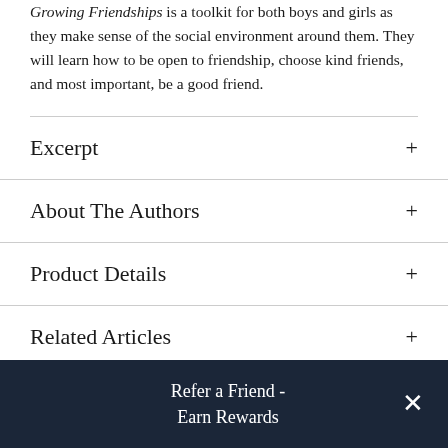Growing Friendships is a toolkit for both boys and girls as they make sense of the social environment around them. They will learn how to be open to friendship, choose kind friends, and most important, be a good friend.
Excerpt
About The Authors
Product Details
Related Articles
Refer a Friend - Earn Rewards